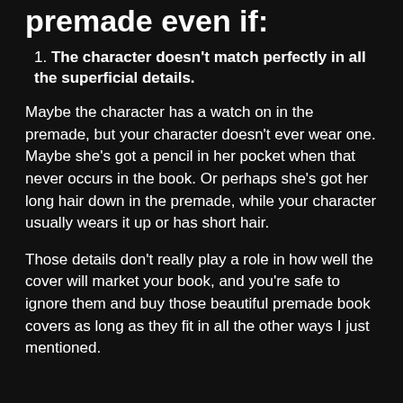premade even if:
1. The character doesn't match perfectly in all the superficial details.
Maybe the character has a watch on in the premade, but your character doesn't ever wear one. Maybe she's got a pencil in her pocket when that never occurs in the book. Or perhaps she's got her long hair down in the premade, while your character usually wears it up or has short hair.
Those details don't really play a role in how well the cover will market your book, and you're safe to ignore them and buy those beautiful premade book covers as long as they fit in all the other ways I just mentioned.